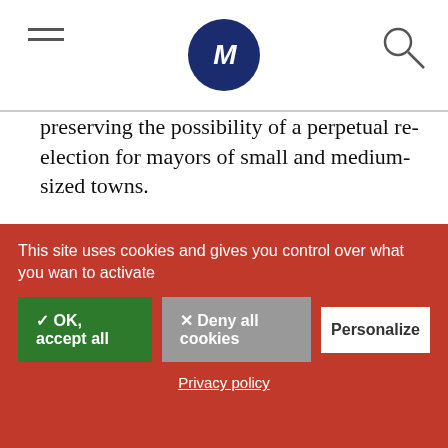M (logo)
preserving the possibility of a perpetual re-election for mayors of small and medium-sized towns.
Either way, the great negotiation has begun. If it were unsuccessful, Emmanuel Macron would have to face his first defeat. Otherwise, the French 5th Republic would be updated for the 25th time. Yet not transformed.
This site uses cookies and gives you control over what you want to activate
✓ OK, accept all
✕ Deny all cookies
Personalize
Privacy policy